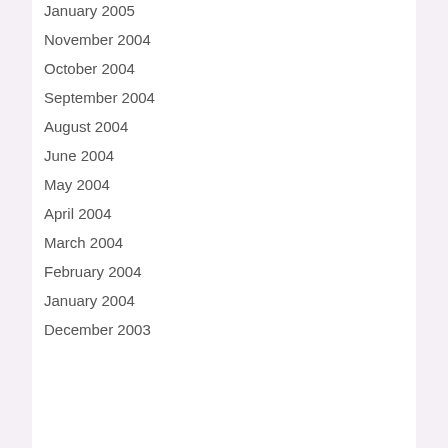January 2005
November 2004
October 2004
September 2004
August 2004
June 2004
May 2004
April 2004
March 2004
February 2004
January 2004
December 2003